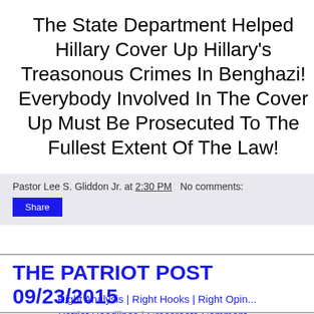The State Department Helped Hillary Cover Up Hillary's Treasonous Crimes In Benghazi! Everybody Involved In The Cover Up Must Be Prosecuted To The Fullest Extent Of The Law!
Pastor Lee S. Gliddon Jr. at 2:30 PM   No comments:
THE PATRIOT POST 09/23/2015
Right Analysis | Right Hooks | Right Opin... Patriot Headlines | Grassroots Comment...